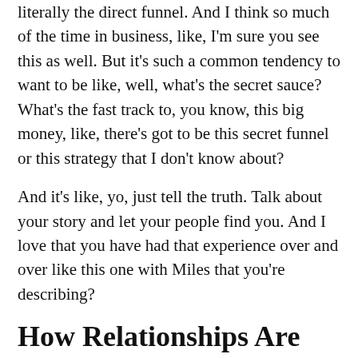literally the direct funnel. And I think so much of the time in business, like, I'm sure you see this as well. But it's such a common tendency to want to be like, well, what's the secret sauce? What's the fast track to, you know, this big money, like, there's got to be this secret funnel or this strategy that I don't know about?
And it's like, yo, just tell the truth. Talk about your story and let your people find you. And I love that you have had that experience over and over like this one with Miles that you're describing?
How Relationships Are Like the Entrepreneurial Journey
Shoshanna: Oh, yeah. And it's definitely a journey. I